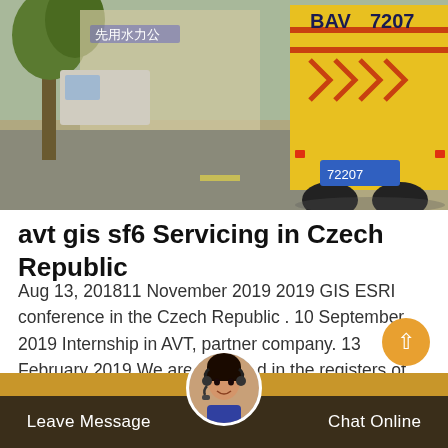[Figure (photo): Street scene with a yellow truck/vehicle with red chevron markings and the number 7207, parked or moving on a road with trees and buildings in the background.]
avt gis sf6 Servicing in Czech Republic
Aug 13, 201811 November 2019 2019 GIS ESRI conference in the Czech Republic . 10 September 2019 Internship in AVT, partner company. 13 February 2019 We are recorded in the registers of suppliers
Leave Message  Chat Online